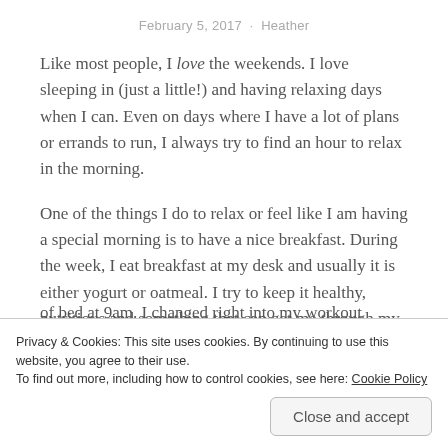February 5, 2017 · Heather
Like most people, I love the weekends. I love sleeping in (just a little!) and having relaxing days when I can. Even on days where I have a lot of plans or errands to run, I always try to find an hour to relax in the morning.
One of the things I do to relax or feel like I am having a special morning is to have a nice breakfast. During the week, I eat breakfast at my desk and usually it is either yogurt or oatmeal. I try to keep it healthy, nutritious and something that can get me through my morning without
of bed at 9am. I changed right into my workout clothes
Privacy & Cookies: This site uses cookies. By continuing to use this website, you agree to their use.
To find out more, including how to control cookies, see here: Cookie Policy
Close and accept